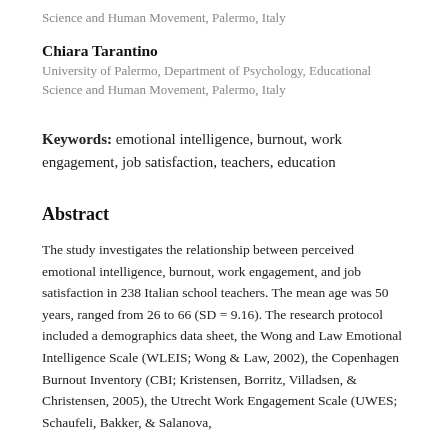Science and Human Movement, Palermo, Italy
Chiara Tarantino
University of Palermo, Department of Psychology, Educational Science and Human Movement, Palermo, Italy
Keywords: emotional intelligence, burnout, work engagement, job satisfaction, teachers, education
Abstract
The study investigates the relationship between perceived emotional intelligence, burnout, work engagement, and job satisfaction in 238 Italian school teachers. The mean age was 50 years, ranged from 26 to 66 (SD = 9.16). The research protocol included a demographics data sheet, the Wong and Law Emotional Intelligence Scale (WLEIS; Wong & Law, 2002), the Copenhagen Burnout Inventory (CBI; Kristensen, Borritz, Villadsen, & Christensen, 2005), the Utrecht Work Engagement Scale (UWES; Schaufeli, Bakker, & Salanova,